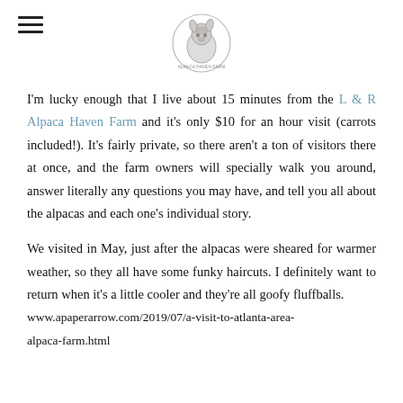[hamburger menu icon] [alpaca farm logo]
I'm lucky enough that I live about 15 minutes from the L & R Alpaca Haven Farm and it's only $10 for an hour visit (carrots included!). It's fairly private, so there aren't a ton of visitors there at once, and the farm owners will specially walk you around, answer literally any questions you may have, and tell you all about the alpacas and each one's individual story.
We visited in May, just after the alpacas were sheared for warmer weather, so they all have some funky haircuts. I definitely want to return when it's a little cooler and they're all goofy fluffballs.
www.apaperarrow.com/2019/07/a-visit-to-atlanta-area-alpaca-farm.html